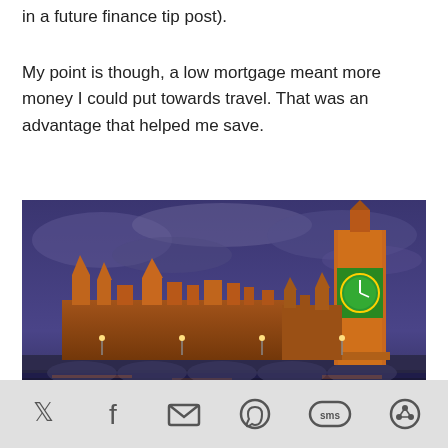in a future finance tip post).
My point is though, a low mortgage meant more money I could put towards travel. That was an advantage that helped me save.
[Figure (photo): Night photograph of the Houses of Parliament and Big Ben in London, illuminated with warm orange lights against a dramatic purple/blue cloudy sky, with Westminster Bridge in the foreground over the Thames river.]
Social share bar with icons: Twitter, Facebook, Email, WhatsApp, SMS, Share